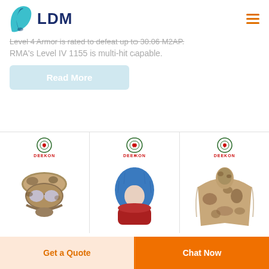[Figure (logo): LDM company logo with teal leaf/tooth icon and dark blue bold LDM text]
Level 4 Armor is rated to defeat up to 30.06 M2AP.
RMA's Level IV 1155 is multi-hit capable.
Read More
[Figure (photo): DEEKON branded tactical camouflage face mask/goggle helmet]
[Figure (photo): DEEKON branded blue and red balaclava head covering]
[Figure (photo): DEEKON branded desert camouflage military poncho]
Get a Quote
Chat Now